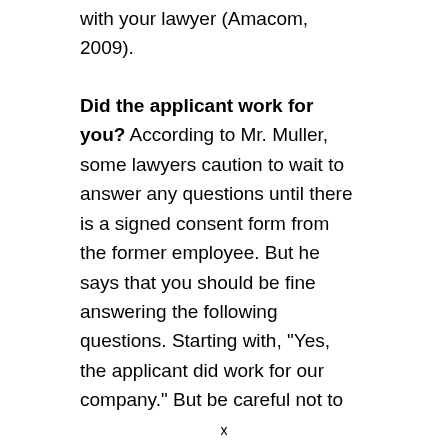with your lawyer (Amacom, 2009).
Did the applicant work for you? According to Mr. Muller, some lawyers caution to wait to answer any questions until there is a signed consent form from the former employee. But he says that you should be fine answering the following questions. Starting with, "Yes, the applicant did work for our company." But be careful not to
x